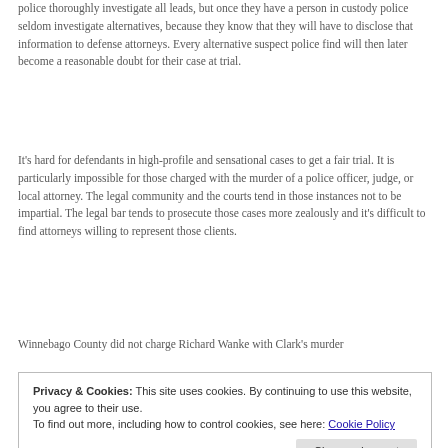police thoroughly investigate all leads, but once they have a person in custody police seldom investigate alternatives, because they know that they will have to disclose that information to defense attorneys. Every alternative suspect police find will then later become a reasonable doubt for their case at trial.
It's hard for defendants in high-profile and sensational cases to get a fair trial. It is particularly impossible for those charged with the murder of a police officer, judge, or local attorney. The legal community and the courts tend in those instances not to be impartial. The legal bar tends to prosecute those cases more zealously and it's difficult to find attorneys willing to represent those clients.
Winnebago County did not charge Richard Wanke with Clark's murder
Privacy & Cookies: This site uses cookies. By continuing to use this website, you agree to their use.
To find out more, including how to control cookies, see here: Cookie Policy
Close and accept
the Clark murder investigation was listed as an "unsolved", cold-case